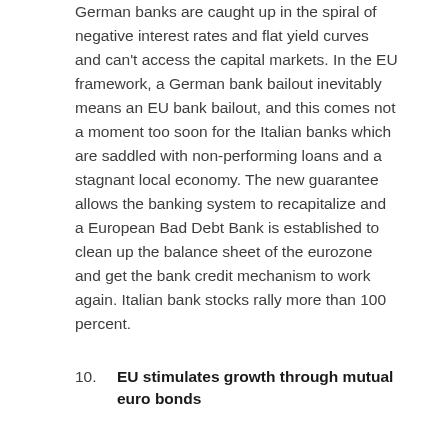German banks are caught up in the spiral of negative interest rates and flat yield curves and can't access the capital markets. In the EU framework, a German bank bailout inevitably means an EU bank bailout, and this comes not a moment too soon for the Italian banks which are saddled with non-performing loans and a stagnant local economy. The new guarantee allows the banking system to recapitalize and a European Bad Debt Bank is established to clean up the balance sheet of the eurozone and get the bank credit mechanism to work again. Italian bank stocks rally more than 100 percent.
10. EU stimulates growth through mutual euro bonds